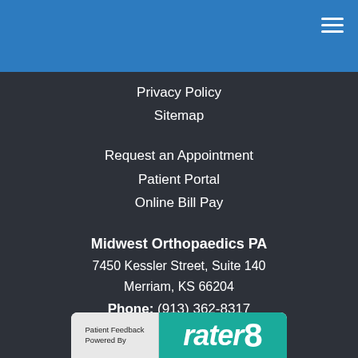Privacy Policy
Sitemap
Request an Appointment
Patient Portal
Online Bill Pay
Midwest Orthopaedics PA
7450 Kessler Street, Suite 140
Merriam, KS 66204
Phone: (913) 362-8317
[Figure (logo): iHealthSpot and Price Kreimer Group logos]
Medical Website Design and Medical Marketing by iHealthSpot.com
[Figure (logo): Patient Feedback Powered By rater8 banner]